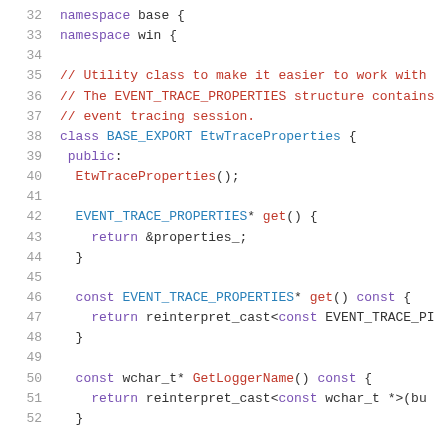32  namespace base {
33  namespace win {
34
35  // Utility class to make it easier to work with
36  // The EVENT_TRACE_PROPERTIES structure contains
37  // event tracing session.
38  class BASE_EXPORT EtwTraceProperties {
39   public:
40    EtwTraceProperties();
41
42    EVENT_TRACE_PROPERTIES* get() {
43      return &properties_;
44    }
45
46    const EVENT_TRACE_PROPERTIES* get() const {
47      return reinterpret_cast<const EVENT_TRACE_PI
48    }
49
50    const wchar_t* GetLoggerName() const {
51      return reinterpret_cast<const wchar_t *>(bu
52    }